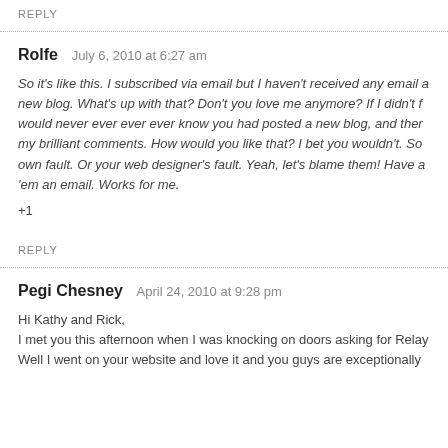REPLY
Rolfe   July 6, 2010 at 6:27 am
So it's like this. I subscribed via email but I haven't received any email about a new blog. What's up with that? Don't you love me anymore? If I didn't find you I would never ever ever ever know you had posted a new blog, and then you'd miss my brilliant comments. How would you like that? I bet you wouldn't. So it's your own fault. Or your web designer's fault. Yeah, let's blame them! Have a chat, send 'em an email. Works for me.
+1
REPLY
Pegi Chesney   April 24, 2010 at 9:28 pm
Hi Kathy and Rick,
I met you this afternoon when I was knocking on doors asking for Relay
Well I went on your website and love it and you guys are exceptionally